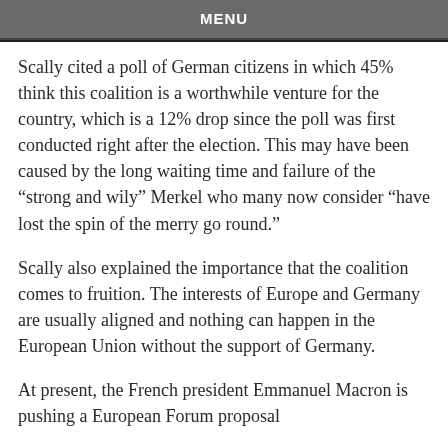MENU
Scally cited a poll of German citizens in which 45% think this coalition is a worthwhile venture for the country, which is a 12% drop since the poll was first conducted right after the election. This may have been caused by the long waiting time and failure of the “strong and wily” Merkel who many now consider “have lost the spin of the merry go round.”
Scally also explained the importance that the coalition comes to fruition. The interests of Europe and Germany are usually aligned and nothing can happen in the European Union without the support of Germany.
At present, the French president Emmanuel Macron is pushing a European Forum proposal